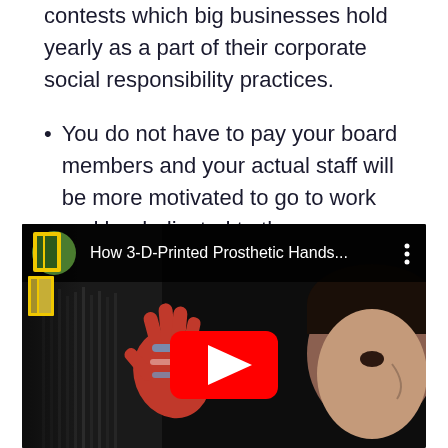contests which big businesses hold yearly as a part of their corporate social responsibility practices.
You do not have to pay your board members and your actual staff will be more motivated to go to work and be dedicated to the company mission since it has a rewarding, fulfilling purpose.
[Figure (screenshot): YouTube video embed showing 'How 3-D-Printed Prosthetic Hands...' with National Geographic logo, a red 3D-printed prosthetic hand and a child looking at it in the thumbnail, with a YouTube play button overlay.]